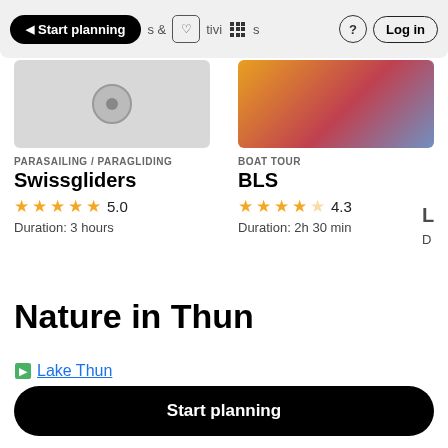Start planning  Log in
PARASAILING / PARAGLIDING
Swissgliders
★★★★★ 5.0
Duration: 3 hours
BOAT TOUR
BLS
★★★★½ 4.3
Duration: 2h 30 min
Nature in Thun
Lake Thun
Start planning